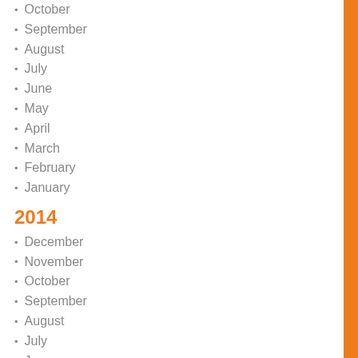October
September
August
July
June
May
April
March
February
January
2014
December
November
October
September
August
July
June
May
April
March